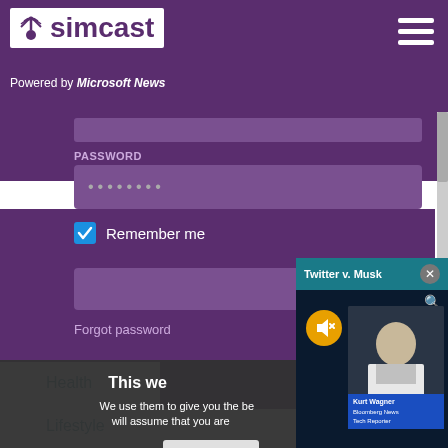[Figure (screenshot): Simcast logo with antenna icon on white background, purple header with hamburger menu]
Powered by Microsoft News
PASSWORD
••••••••
Remember me
Forgot password
[Figure (screenshot): Twitter v. Musk popup video with Kurt Wagner, Bloomberg News Tech Reporter]
This we
We use them to give you the be will assume that you are
Co
Health
Lifestyle
Money
News